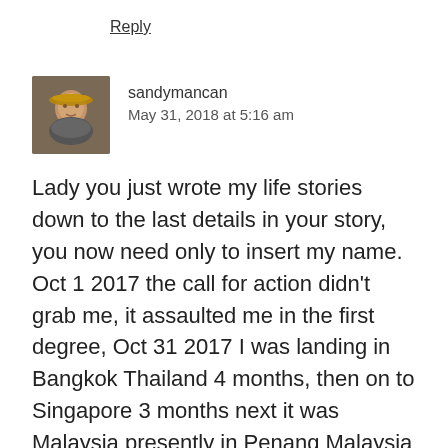Reply
[Figure (photo): Avatar photo of user sandymancan — a person wearing a straw hat]
sandymancan
May 31, 2018 at 5:16 am
Lady you just wrote my life stories down to the last details in your story, you now need only to insert my name. Oct 1 2017 the call for action didn't grab me, it assaulted me in the first degree, Oct 31 2017 I was landing in Bangkok Thailand 4 months, then on to Singapore 3 months next it was Malaysia presently in Penang Malaysia were I'm writing this now, i like Malaysia but come July off to Hanoi Vietnam. How long? do know! don't care! it will take care of it's self